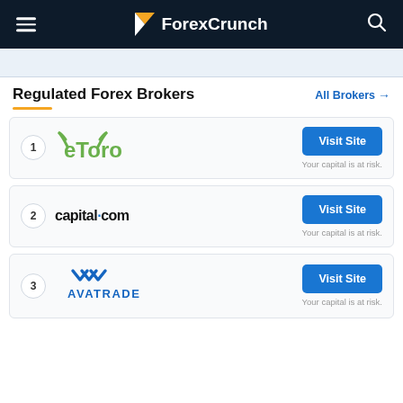ForexCrunch
Regulated Forex Brokers
All Brokers →
[Figure (logo): eToro logo - green bull horns with eToro text]
Visit Site
Your capital is at risk.
[Figure (logo): capital.com logo in bold black text]
Visit Site
Your capital is at risk.
[Figure (logo): AvaTrade logo in blue with AVA chevrons above AVATRADE text]
Visit Site
Your capital is at risk.